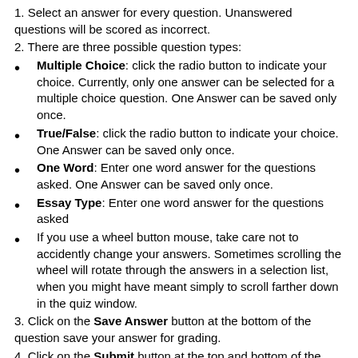1. Select an answer for every question. Unanswered questions will be scored as incorrect.
2. There are three possible question types:
Multiple Choice: click the radio button to indicate your choice. Currently, only one answer can be selected for a multiple choice question. One Answer can be saved only once.
True/False: click the radio button to indicate your choice. One Answer can be saved only once.
One Word: Enter one word answer for the questions asked. One Answer can be saved only once.
Essay Type: Enter one word answer for the questions asked
If you use a wheel button mouse, take care not to accidently change your answers. Sometimes scrolling the wheel will rotate through the answers in a selection list, when you might have meant simply to scroll farther down in the quiz window.
3. Click on the Save Answer button at the bottom of the question save your answer for grading.
4. Click on the Submit button at the top and bottom of the page to have your answers graded.
5. The Quiz will then be evaluated by the Instructor of